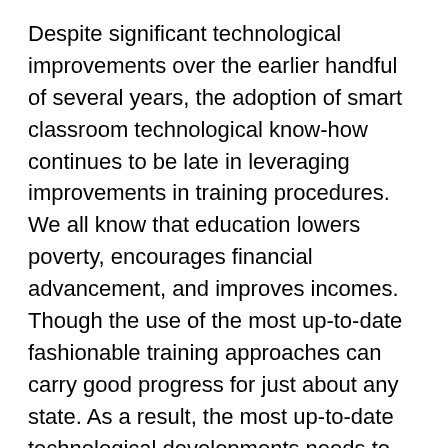Despite significant technological improvements over the earlier handful of several years, the adoption of smart classroom technological know-how continues to be late in leveraging improvements in training procedures. We all know that education lowers poverty, encourages financial advancement, and improves incomes. Though the use of the most up-to-date fashionable training approaches can carry good progress for just about any state. As a result, the most up-to-date technological developments needs to be built-in in to the instruction program. Otherwise, there is a danger of slipping guiding. Modernization of the schooling sector can maximize the productiveness of people and international locations. Using the advancement of schooling top quality, students' acuity also improves.
The classroom is altering
Long gone are classified as the days each time a